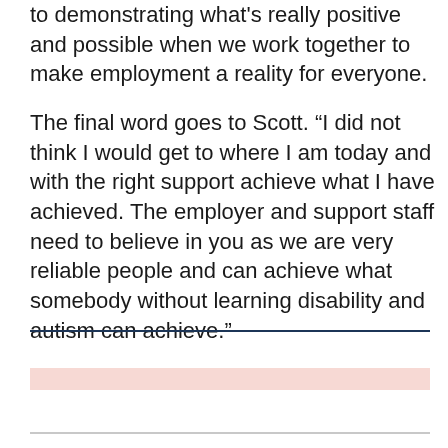to demonstrating what's really positive and possible when we work together to make employment a reality for everyone.
The final word goes to Scott. “I did not think I would get to where I am today and with the right support achieve what I have achieved. The employer and support staff need to believe in you as we are very reliable people and can achieve what somebody without learning disability and autism can achieve.”